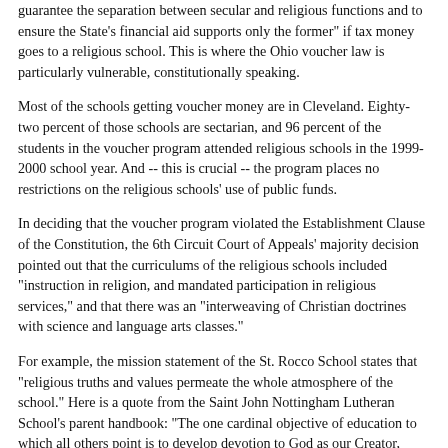guarantee the separation between secular and religious functions and to ensure the State's financial aid supports only the former" if tax money goes to a religious school. This is where the Ohio voucher law is particularly vulnerable, constitutionally speaking.
Most of the schools getting voucher money are in Cleveland. Eighty-two percent of those schools are sectarian, and 96 percent of the students in the voucher program attended religious schools in the 1999-2000 school year. And -- this is crucial -- the program places no restrictions on the religious schools' use of public funds.
In deciding that the voucher program violated the Establishment Clause of the Constitution, the 6th Circuit Court of Appeals' majority decision pointed out that the curriculums of the religious schools included "instruction in religion, and mandated participation in religious services," and that there was an "interweaving of Christian doctrines with science and language arts classes."
For example, the mission statement of the St. Rocco School states that "religious truths and values permeate the whole atmosphere of the school." Here is a quote from the Saint John Nottingham Lutheran School's parent handbook: "The one cardinal objective of education to which all others point is to develop devotion to God as our Creator, Redeemer, and Sanctifier." Calvary Center Academy's handbook for parents and students requires that students "pledge allegiance to the Christian flag and to the Savior for whose kingdom